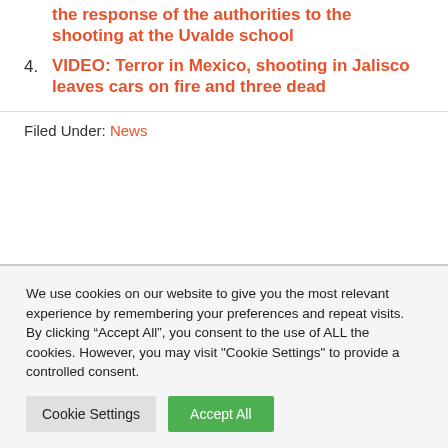the response of the authorities to the shooting at the Uvalde school
4. VIDEO: Terror in Mexico, shooting in Jalisco leaves cars on fire and three dead
Filed Under: News
We use cookies on our website to give you the most relevant experience by remembering your preferences and repeat visits. By clicking “Accept All”, you consent to the use of ALL the cookies. However, you may visit "Cookie Settings" to provide a controlled consent.